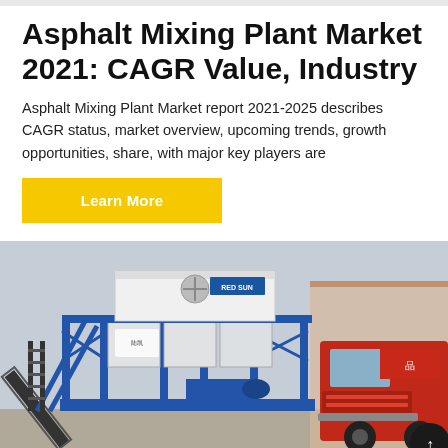Asphalt Mixing Plant Market 2021: CAGR Value, Industry
Asphalt Mixing Plant Market report 2021-2025 describes CAGR status, market overview, upcoming trends, growth opportunities, share, with major key players are
[Figure (other): Yellow 'Learn More' button]
[Figure (photo): Photo of an asphalt mixing plant (blue steel frame structure with conveyor belt and hoppers) parked next to a red truck, in an industrial yard setting.]